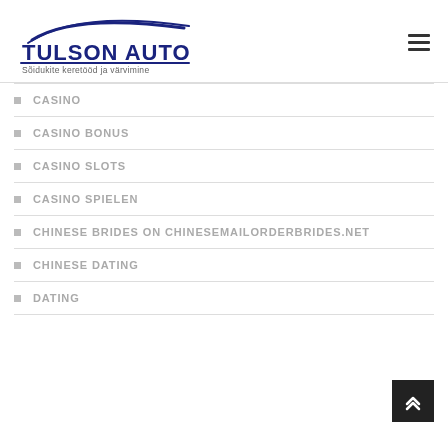[Figure (logo): Tulson Auto logo with car silhouette and text 'Sõidukite keretööd ja värvimine']
CASINO
CASINO BONUS
CASINO SLOTS
CASINO SPIELEN
CHINESE BRIDES ON CHINESEMAILORDERBRIDES.NET
CHINESE DATING
DATING